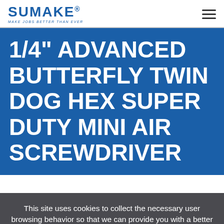SUMAKE® — Make Jobs Better Than Ever
1/4" ADVANCED BUTTERFLY TWIN DOG HEX SUPER DUTY MINI AIR SCREWDRIVER
This site uses cookies to collect the necessary user browsing behavior so that we can provide you with a better browsing experience. Browse this site, which means you agree with "online privacy declaration."
× Close